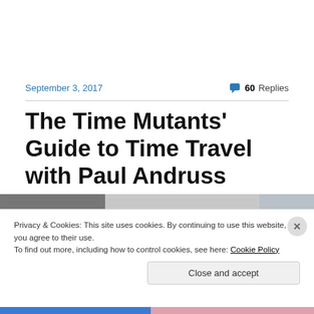September 3, 2017
60 Replies
The Time Mutants' Guide to Time Travel with Paul Andruss
[Figure (photo): Grayscale banner photo strip showing textured/architectural imagery]
Privacy & Cookies: This site uses cookies. By continuing to use this website, you agree to their use.
To find out more, including how to control cookies, see here: Cookie Policy
Close and accept